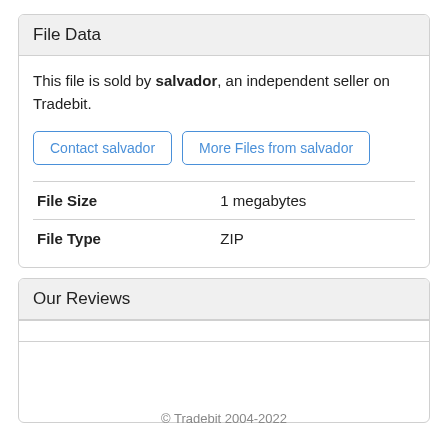File Data
This file is sold by salvador, an independent seller on Tradebit.
Contact salvador | More Files from salvador
| File Size | 1 megabytes |
| File Type | ZIP |
Our Reviews
© Tradebit 2004-2022